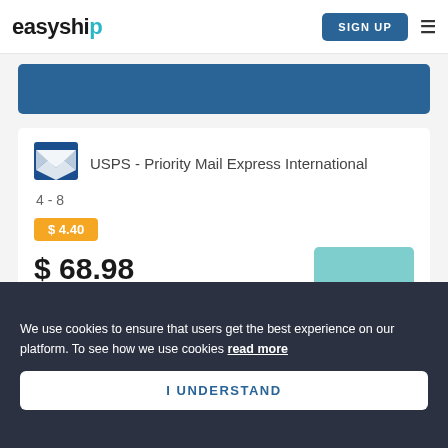easyship — SIGN UP
[Figure (screenshot): Blue rectangle banner at top of shipping results section]
[Figure (logo): USPS eagle logo in blue]
USPS - Priority Mail Express International
4 - 8
$ 4.40
$ 68.98
We use cookies to ensure that users get the best experience on our platform. To see how we use cookies read more
I UNDERSTAND